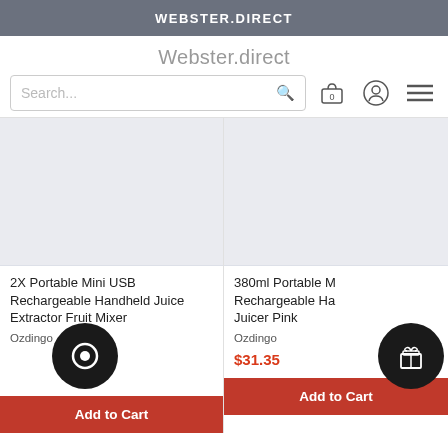WEBSTER.DIRECT
Webster.direct
Search...
2X Portable Mini USB Rechargeable Handheld Juice Extractor Fruit Mixer
Ozdingo
Add to Cart
380ml Portable Mini USB Rechargeable Handheld Juicer Pink
Ozdingo
$31.35
Add to Cart